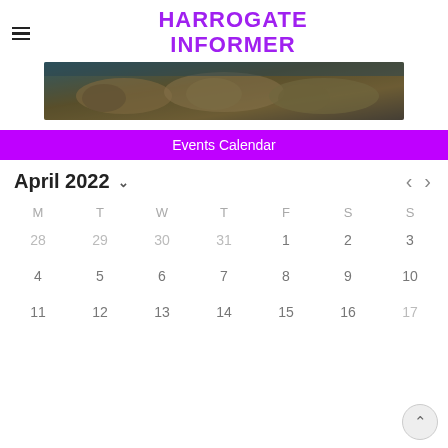Harrogate Informer
[Figure (photo): Banner image showing animals, possibly lions or similar wildlife, in a dark outdoor scene]
Events Calendar
| M | T | W | T | F | S | S |
| --- | --- | --- | --- | --- | --- | --- |
| 28 | 29 | 30 | 31 | 1 | 2 | 3 |
| 4 | 5 | 6 | 7 | 8 | 9 | 10 |
| 11 | 12 | 13 | 14 | 15 | 16 | 17 |